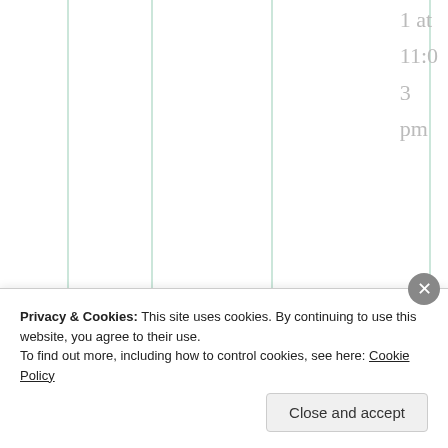[Figure (other): Calendar or table grid with vertical green/teal lines forming columns on white background]
1 at 11:0 3 pm
Did they ever get around to making a DLPT IV test for Russian?
Privacy & Cookies: This site uses cookies. By continuing to use this website, you agree to their use.
To find out more, including how to control cookies, see here: Cookie Policy
Close and accept